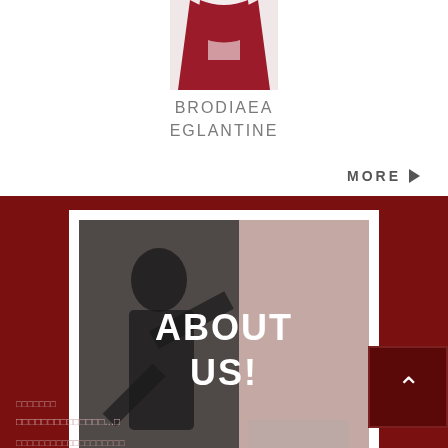[Figure (photo): Partial view of a red/burgundy dress from the torso down, cropped at top]
BRODIAEA
EGLANTINE
MORE ►
[Figure (photo): Dark red background section with 'About Us!' image showing a person in black and white, overlaid with bold white ABOUT US! text]
▲
□□□□□□□
□□□□□□□□□□□□□□...□
□□□□□□□□□□□□□□□□□□□